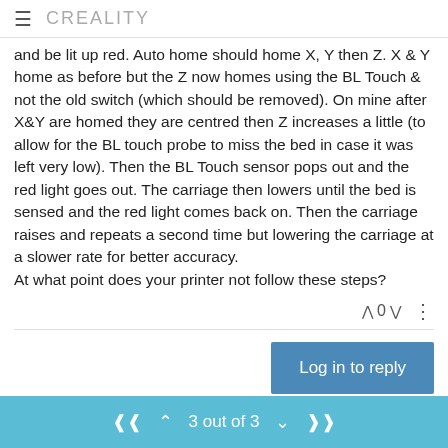CREALITY
and be lit up red. Auto home should home X, Y then Z. X & Y home as before but the Z now homes using the BL Touch & not the old switch (which should be removed). On mine after X&Y are homed they are centred then Z increases a little (to allow for the BL touch probe to miss the bed in case it was left very low). Then the BL Touch sensor pops out and the red light goes out. The carriage then lowers until the bed is sensed and the red light comes back on. Then the carriage raises and repeats a second time but lowering the carriage at a slower rate for better accuracy.
At what point does your printer not follow these steps?
0
Log in to reply
3 out of 3